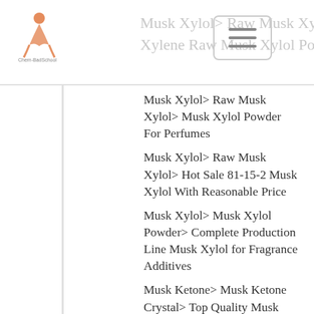Musk Xylol > Raw Musk Xylol > Musk Xylene Raw Musk Xylol Powder
Musk Xylol > Raw Musk Xylol > Musk Xylol Powder For Perfumes
Musk Xylol > Raw Musk Xylol > Hot Sale 81-15-2 Musk Xylol With Reasonable Price
Musk Xylol > Musk Xylol Powder > Complete Production Line Musk Xylol for Fragrance Additives
Musk Ketone > Musk Ketone Crystal > Top Quality Musk Ketone/CAS 81-14-1
Musk Xylol > Musk Xylol Powder > Top-quality Useful Synthetic Musk Xylol
Musk Xylol > Musk Xylol Crystal > 100g Sample Provided Delivery Good Musk Xylene